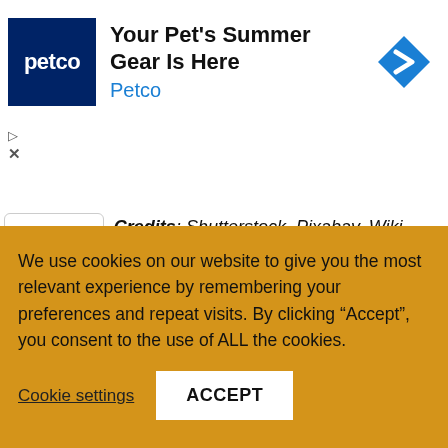[Figure (other): Petco advertisement banner: Petco logo (dark blue square with 'petco' text), headline 'Your Pet's Summer Gear Is Here', brand name 'Petco' in blue, and a blue diamond-shaped navigation icon on the right.]
Credits: Shutterstock, Pixabay, Wiki Commons
Disclaimer: This article is for informational purposes only. It is not a direct offer or solicitation of an offer to buy or sell, or a recommendation or endorsement of any products, services, or companies. Bitcoin.com does not provide investment, tax, legal, or accounting advice. Neither the company nor the
We use cookies on our website to give you the most relevant experience by remembering your preferences and repeat visits. By clicking “Accept”, you consent to the use of ALL the cookies.
Cookie settings
ACCEPT